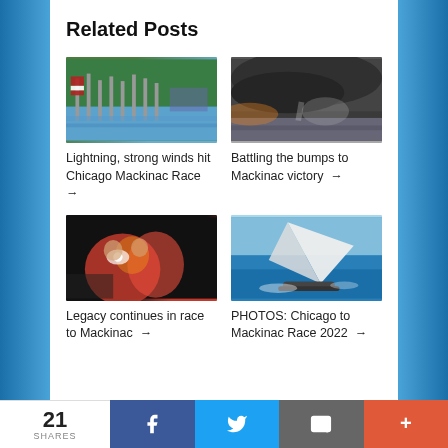Related Posts
[Figure (photo): Aerial view of marina with sailboats and American flag, Chicago Mackinac Race]
Lightning, strong winds hit Chicago Mackinac Race →
[Figure (photo): Storm clouds over open water with dramatic sunset sky]
Battling the bumps to Mackinac victory →
[Figure (photo): Night sailing crew photo with crew members in red jackets and headlamps]
Legacy continues in race to Mackinac →
[Figure (photo): Racing sailboat with large spinnaker sail in blue water, Chicago to Mackinac Race 2022]
PHOTOS: Chicago to Mackinac Race 2022 →
21 SHARES | Facebook | Twitter | Email | More